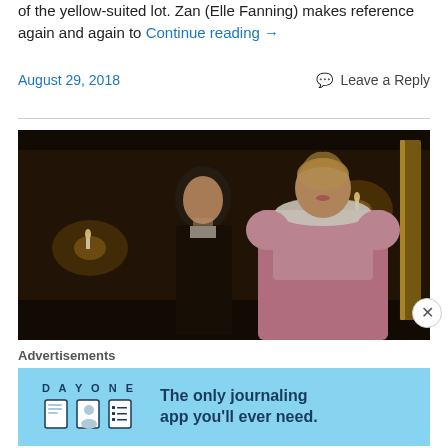of the yellow-suited lot. Zan (Elle Fanning) makes reference again and again to Continue reading →
August 29, 2018
Leave a Reply
[Figure (photo): A period drama scene: a man in a dark jacket stands next to a young woman in a pink Victorian-style dress with white lace collar, in a dimly lit room with candles.]
Advertisements
[Figure (screenshot): DAY ONE app advertisement banner — 'The only journaling app you'll ever need.' with icons on a light blue background.]